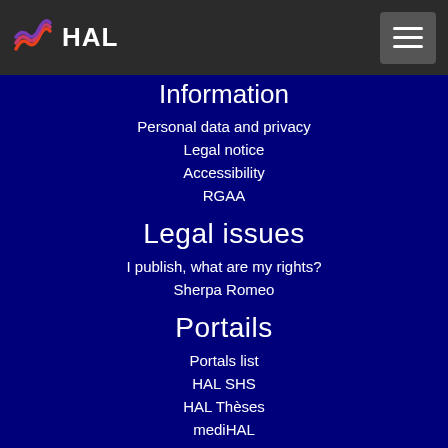HAL
Information
Personal data and privacy
Legal notice
Accessibility
RGAA
Legal issues
I publish, what are my rights?
Sherpa Romeo
Portails
Portals list
HAL SHS
HAL Thèses
mediHAL
CCSD
CCSD